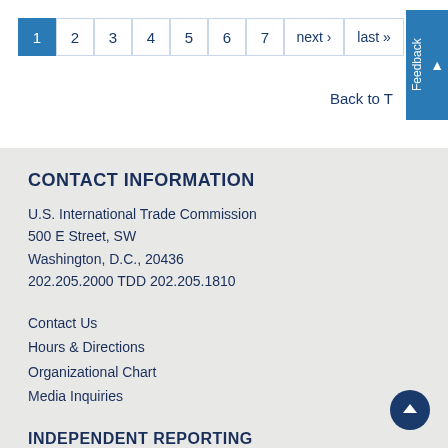1 2 3 4 5 6 7 next › last »
Back to T…
CONTACT INFORMATION
U.S. International Trade Commission
500 E Street, SW
Washington, D.C., 20436
202.205.2000 TDD 202.205.1810
Contact Us
Hours & Directions
Organizational Chart
Media Inquiries
INDEPENDENT REPORTING